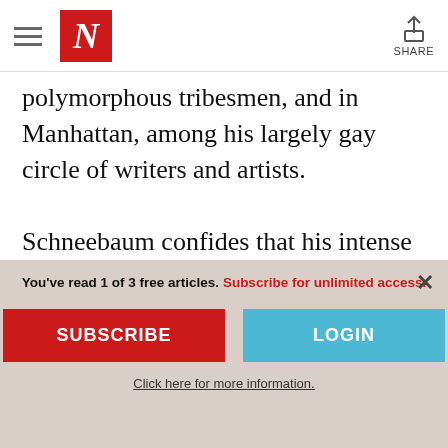The Nation — navigation header with hamburger menu, N logo, and share button
polymorphous tribesmen, and in Manhattan, among his largely gay circle of writers and artists.
Schneebaum confides that his intense need for fellowship and acceptance has always coexisted with a contradictory impulse toward anonymity and independence. He traces this to his unhappiness as a child over
You've read 1 of 3 free articles. Subscribe for unlimited access.
SUBSCRIBE
LOGIN
Click here for more information.